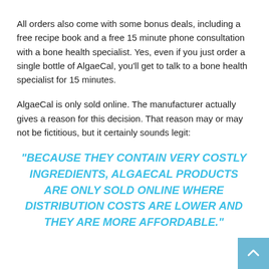All orders also come with some bonus deals, including a free recipe book and a free 15 minute phone consultation with a bone health specialist. Yes, even if you just order a single bottle of AlgaeCal, you'll get to talk to a bone health specialist for 15 minutes.
AlgaeCal is only sold online. The manufacturer actually gives a reason for this decision. That reason may or may not be fictitious, but it certainly sounds legit:
“BECAUSE THEY CONTAIN VERY COSTLY INGREDIENTS, ALGAECAL PRODUCTS ARE ONLY SOLD ONLINE WHERE DISTRIBUTION COSTS ARE LOWER AND THEY ARE MORE AFFORDABLE.”